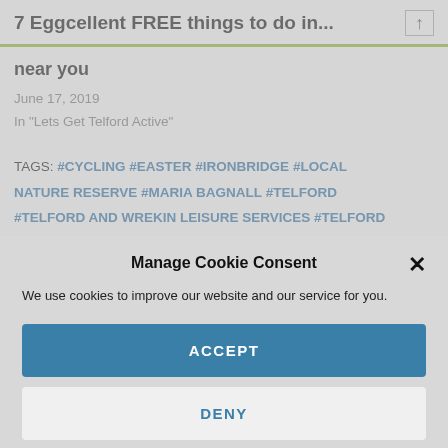7 Eggcellent FREE things to do in...
near you
June 17, 2019
In "Lets Get Telford Active"
TAGS: #CYCLING #EASTER #IRONBRIDGE #LOCAL NATURE RESERVE #MARIA BAGNALL #TELFORD #TELFORD AND WREKIN LEISURE SERVICES #TELFORD
Manage Cookie Consent
We use cookies to improve our website and our service for you.
ACCEPT
DENY